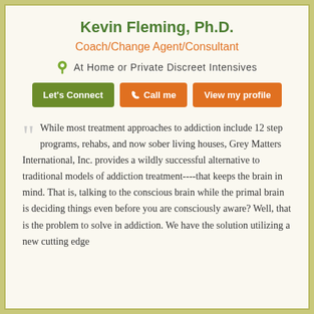Kevin Fleming, Ph.D.
Coach/Change Agent/Consultant
At Home or Private Discreet Intensives
Buttons: Let's Connect | Call me | View my profile
While most treatment approaches to addiction include 12 step programs, rehabs, and now sober living houses, Grey Matters International, Inc. provides a wildly successful alternative to traditional models of addiction treatment----that keeps the brain in mind. That is, talking to the conscious brain while the primal brain is deciding things even before you are consciously aware? Well, that is the problem to solve in addiction. We have the solution utilizing a new cutting edge